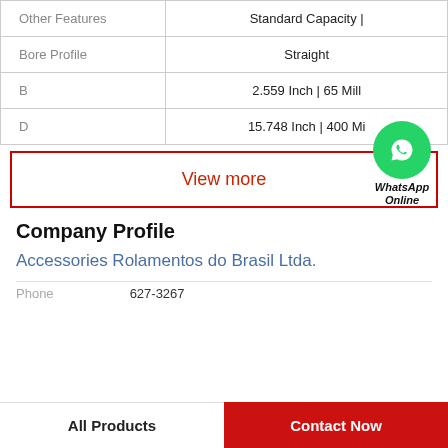| Feature | Value |
| --- | --- |
| Other Features | Standard Capacity | |
| Bore Profile | Straight |
| B | 2.559 Inch | 65 Mill |
| D | 15.748 Inch | 400 Mi |
View more
[Figure (logo): WhatsApp green circle icon with phone handset symbol, labeled 'WhatsApp Online' in bold italic text below]
Company Profile
Accessories Rolamentos do Brasil Ltda.
Phone   627-3267
All Products   Contact Now